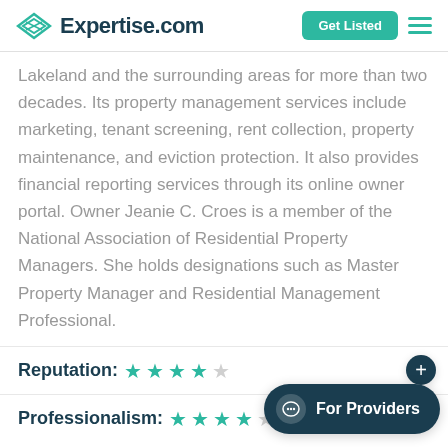Expertise.com
Lakeland and the surrounding areas for more than two decades. Its property management services include marketing, tenant screening, rent collection, property maintenance, and eviction protection. It also provides financial reporting services through its online owner portal. Owner Jeanie C. Croes is a member of the National Association of Residential Property Managers. She holds designations such as Master Property Manager and Residential Management Professional.
Reputation: ★★★★☆
Professionalism: ★★★★☆